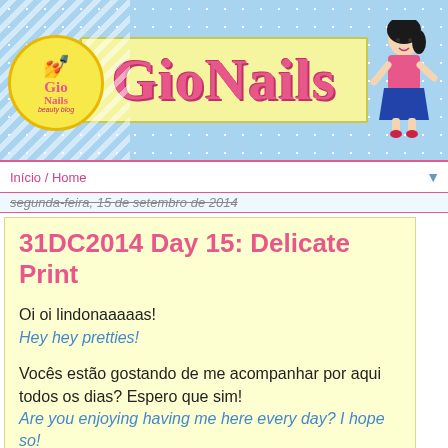[Figure (illustration): GioNails blog header banner with light blue polka-dot background, yellow rectangle with 'GioNails' title in pink, circular logo on left, cartoon girl on right]
Início / Home
segunda-feira, 15 de setembro de 2014
31DC2014 Day 15: Delicate Print
Oi oi lindonaaaaas!
Hey hey pretties!
Vocês estão gostando de me acompanhar por aqui todos os dias? Espero que sim!
Are you enjoying having me here every day? I hope so!
[Figure (photo): Close-up photo of fingers/nails with watermark '© GioNails Blog']